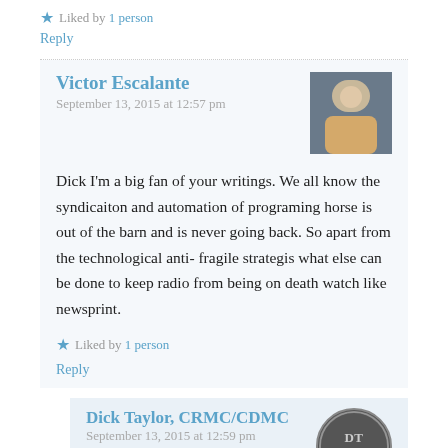★ Liked by 1 person
Reply
Victor Escalante
September 13, 2015 at 12:57 pm
Dick I'm a big fan of your writings. We all know the syndicaiton and automation of programing horse is out of the barn and is never going back. So apart from the technological anti- fragile strategis what else can be done to keep radio from being on death watch like newsprint.
★ Liked by 1 person
Reply
Dick Taylor, CRMC/CDMC
September 13, 2015 at 12:59 pm